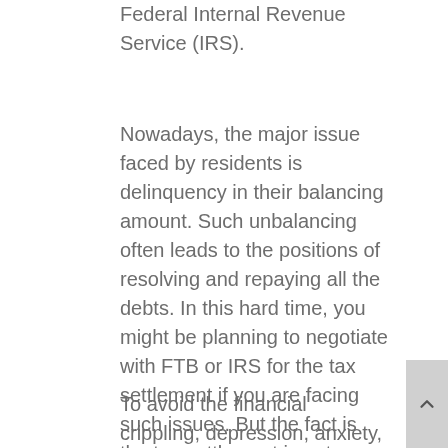Federal Internal Revenue Service (IRS).
Nowadays, the major issue faced by residents is delinquency in their balancing amount. Such unbalancing often leads to the positions of resolving and repaying all the debts. In this hard time, you might be planning to negotiate with FTB or IRS for the tax settlement if you are facing such issues. But the fact is the tax settlement is not as easy as it seems to be.
To avoid the financial crippling, depression, anxiety, and stress